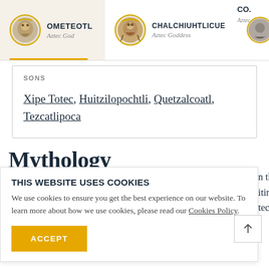[Figure (screenshot): Navigation bar with Aztec deity cards: Ometeotl (Aztec God), Chalchiuhtlicue (Aztec Goddess), and a partially visible third entry. Each card has a circular icon with gold border.]
SONS
Xipe Totec, Huitzilopochtli, Quetzalcoatl, Tezcatlipoca
Mythology
THIS WEBSITE USES COOKIES
We use cookies to ensure you get the best experience on our website. To learn more about how we use cookies, please read our Cookies Policy.
ACCEPT
n that iting tec